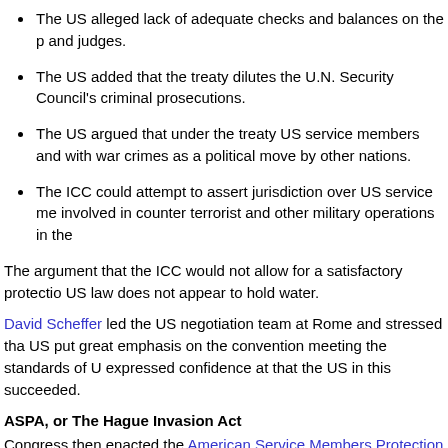The US alleged lack of adequate checks and balances on the p and judges.
The US added that the treaty dilutes the U.N. Security Council's criminal prosecutions.
The US argued that under the treaty US service members and with war crimes as a political move by other nations.
The ICC could attempt to assert jurisdiction over US service me involved in counter terrorist and other military operations in the
The argument that the ICC would not allow for a satisfactory protectio US law does not appear to hold water.
David Scheffer led the US negotiation team at Rome and stressed tha US put great emphasis on the convention meeting the standards of U expressed confidence at that the US in this succeeded.
ASPA, or The Hague Invasion Act
Congress then enacted the American Service Members Protection A